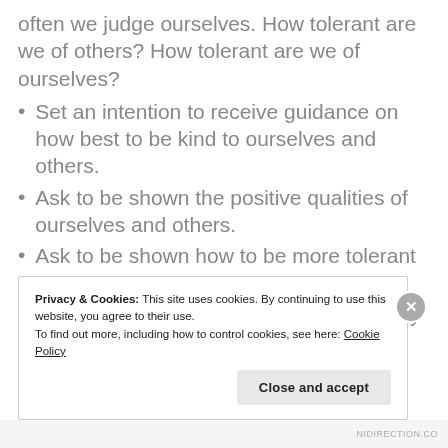often we judge ourselves. How tolerant are we of others? How tolerant are we of ourselves?
Set an intention to receive guidance on how best to be kind to ourselves and others.
Ask to be shown the positive qualities of ourselves and others.
Ask to be shown how to be more tolerant of ourselves and of others.
Be aware of negative judgements as they happen and immediately focus on something positive about what was
Privacy & Cookies: This site uses cookies. By continuing to use this website, you agree to their use.
To find out more, including how to control cookies, see here: Cookie Policy
NIDIRECTION.CO